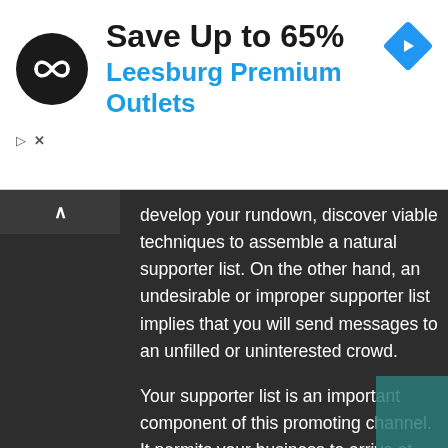[Figure (screenshot): Advertisement banner for Leesburg Premium Outlets showing a circular black logo with infinity-like symbol, text 'Save Up to 65%' in bold black, 'Leesburg Premium Outlets' in blue, and a blue diamond navigation icon on the right. Small play and close icons on the left side below the logo.]
develop your rundown, discover viable techniques to assemble a natural supporter list. On the other hand, an undesirable or improper supporter list implies that you will send messages to an unfilled or uninterested crowd.
Your supporter list is an important component of this promoting channel. It permits your business to arrive at possibilities, adherents, and intrigued leads easily. All things considered, growing a sound endorser list is the way to driving more traffic to your site. You can develop